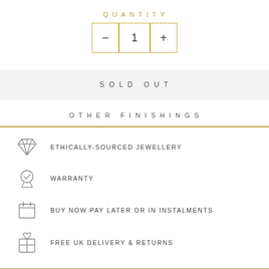QUANTITY
[Figure (infographic): Quantity selector box with minus button, number 1, and plus button, bordered in gold]
SOLD OUT
OTHER FINISHINGS
ETHICALLY-SOURCED JEWELLERY
WARRANTY
BUY NOW PAY LATER OR IN INSTALMENTS
FREE UK DELIVERY & RETURNS